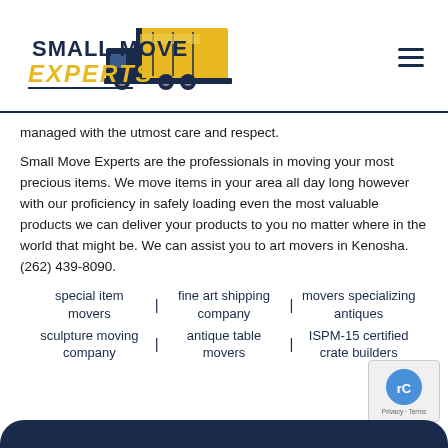[Figure (logo): Small Move Experts logo with truck graphic — dark navy text 'SMALL MOVE' and gold italic 'EXPERTS', with a yellow moving truck illustration]
managed with the utmost care and respect.
Small Move Experts are the professionals in moving your most precious items. We move items in your area all day long however with our proficiency in safely loading even the most valuable products we can deliver your products to you no matter where in the world that might be. We can assist you to art movers in Kenosha. (262) 439-8090.
special item movers
fine art shipping company
movers specializing antiques
sculpture moving company
antique table movers
ISPM-15 certified crate builders